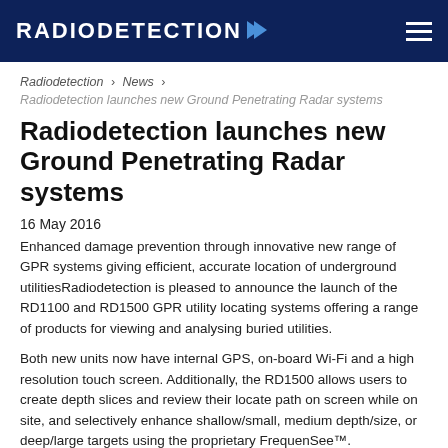RADIODETECTION
Radiodetection › News › Radiodetection launches new Ground Penetrating Radar systems
Radiodetection launches new Ground Penetrating Radar systems
16 May 2016
Enhanced damage prevention through innovative new range of GPR systems giving efficient, accurate location of underground utilitiesRadiodetection is pleased to announce the launch of the RD1100 and RD1500 GPR utility locating systems offering a range of products for viewing and analysing buried utilities.
Both new units now have internal GPS, on-board Wi-Fi and a high resolution touch screen. Additionally, the RD1500 allows users to create depth slices and review their locate path on screen while on site, and selectively enhance shallow/small, medium depth/size, or deep/large targets using the proprietary FrequenSee™.